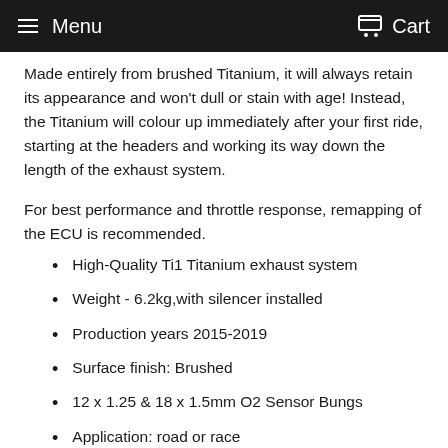Menu    Cart
Made entirely from brushed Titanium, it will always retain its appearance and won't dull or stain with age! Instead, the Titanium will colour up immediately after your first ride, starting at the headers and working its way down the length of the exhaust system.
For best performance and throttle response, remapping of the ECU is recommended.
High-Quality Ti1 Titanium exhaust system
Weight - 6.2kg,with silencer installed
Production years 2015-2019
Surface finish: Brushed
12 x 1.25 & 18 x 1.5mm O2 Sensor Bungs
Application: road or race